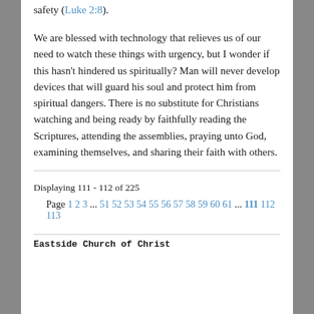safety (Luke 2:8).
We are blessed with technology that relieves us of our need to watch these things with urgency, but I wonder if this hasn’t hindered us spiritually? Man will never develop devices that will guard his soul and protect him from spiritual dangers. There is no substitute for Christians watching and being ready by faithfully reading the Scriptures, attending the assemblies, praying unto God, examining themselves, and sharing their faith with others.
Displaying 111 - 112 of 225
Page 1 2 3 ... 51 52 53 54 55 56 57 58 59 60 61 ... 111 112 113
Eastside Church of Christ